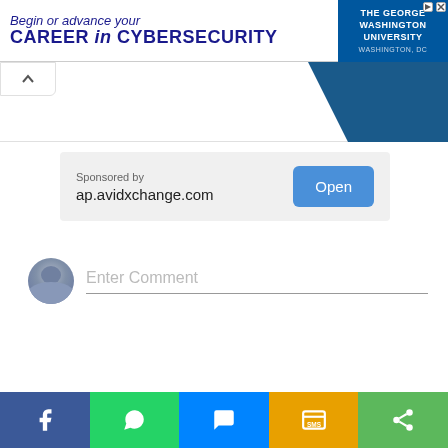[Figure (screenshot): Advertisement banner for The George Washington University: 'Begin or advance your CAREER in CYBERSECURITY' with GWU logo on the right, Washington DC]
[Figure (screenshot): Collapsed section with chevron (up arrow) tab and blue decorative shape on the right]
[Figure (screenshot): Sponsored content card showing 'Sponsored by ap.avidxchange.com' with blue Open button]
[Figure (screenshot): Comment input area with user avatar and 'Enter Comment' placeholder text]
[Figure (screenshot): Social sharing bar with Facebook, WhatsApp, Messenger, SMS, and share buttons]